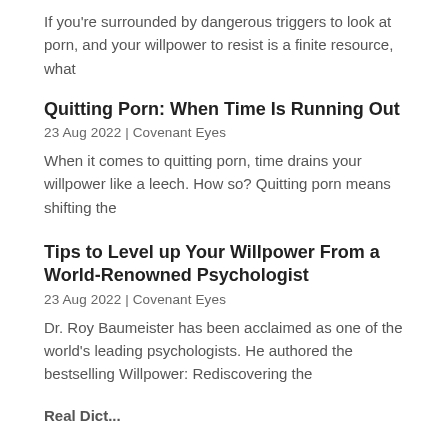If you're surrounded by dangerous triggers to look at porn, and your willpower to resist is a finite resource, what
Quitting Porn: When Time Is Running Out
23 Aug 2022 | Covenant Eyes
When it comes to quitting porn, time drains your willpower like a leech. How so? Quitting porn means shifting the
Tips to Level up Your Willpower From a World-Renowned Psychologist
23 Aug 2022 | Covenant Eyes
Dr. Roy Baumeister has been acclaimed as one of the world's leading psychologists. He authored the bestselling Willpower: Rediscovering the
Real Dict...